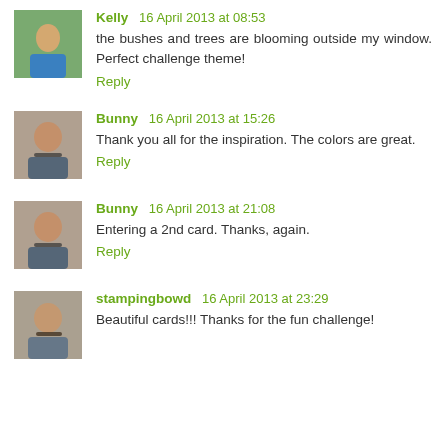[Figure (photo): Avatar of Kelly, a person outdoors]
Kelly 16 April 2013 at 08:53
the bushes and trees are blooming outside my window. Perfect challenge theme!
Reply
[Figure (photo): Avatar of Bunny, a woman with sunglasses]
Bunny 16 April 2013 at 15:26
Thank you all for the inspiration. The colors are great.
Reply
[Figure (photo): Avatar of Bunny, a woman with sunglasses]
Bunny 16 April 2013 at 21:08
Entering a 2nd card. Thanks, again.
Reply
[Figure (photo): Avatar of stampingbowd, a woman with glasses]
stampingbowd 16 April 2013 at 23:29
Beautiful cards!!! Thanks for the fun challenge!